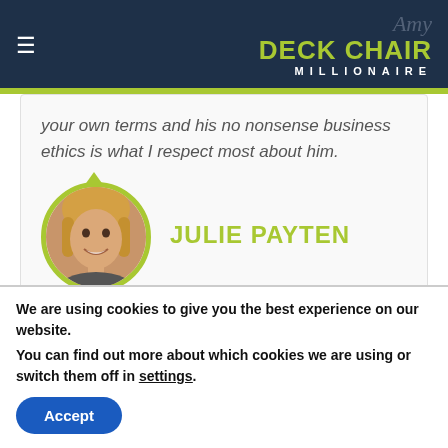DECK CHAIR MILLIONAIRE
your own terms and his no nonsense business ethics is what I respect most about him.
JULIE PAYTEN
[Figure (photo): Circular profile photo of Julie Payten, a woman with blonde hair, smiling, bordered with a yellow-green circle and triangle notch at top]
We are using cookies to give you the best experience on our website.
You can find out more about which cookies we are using or switch them off in settings.
Accept